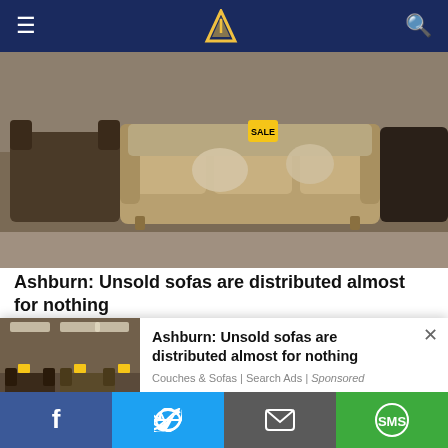Navigation bar with hamburger menu, logo, and search icon
[Figure (photo): Showroom display of beige/tan upholstered sofas and couches with decorative pillows and price tags, in a furniture store setting]
Ashburn: Unsold sofas are distributed almost for nothing
Couches & Sofas | Search Ads
Search Now
ABOUT THE AUTHOR
Matt DiSanto
[Figure (photo): Furniture store showroom with rows of sofas and yellow price tags, used as popup ad image]
Ashburn: Unsold sofas are distributed almost for nothing
Couches & Sofas | Search Ads | Sponsored
Social sharing bar: Facebook, Twitter, Email, SMS